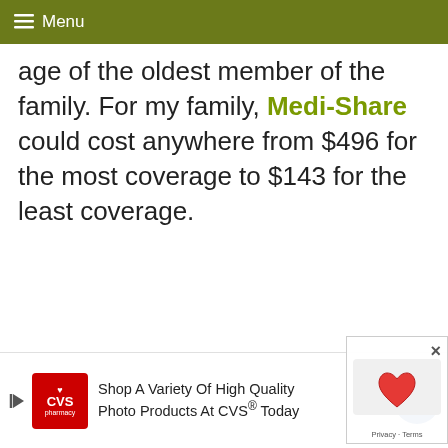≡ Menu
age of the oldest member of the family. For my family, Medi-Share could cost anywhere from $496 for the most coverage to $143 for the least coverage.
[Figure (screenshot): CVS pharmacy advertisement banner: 'Shop A Variety Of High Quality Photo Products At CVS® Today']
[Figure (other): reCAPTCHA widget with close button overlay]